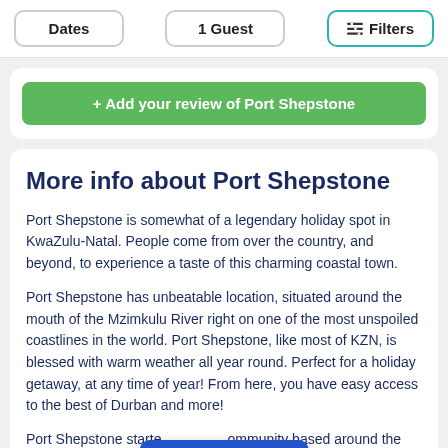Dates | 1 Guest | Filters
+ Add your review of Port Shepstone
More info about Port Shepstone
Port Shepstone is somewhat of a legendary holiday spot in KwaZulu-Natal. People come from over the country, and beyond, to experience a taste of this charming coastal town.
Port Shepstone has unbeatable location, situated around the mouth of the Mzimkulu River right on one of the most unspoiled coastlines in the world. Port Shepstone, like most of KZN, is blessed with warm weather all year round. Perfect for a holiday getaway, at any time of year! From here, you have easy access to the best of Durban and more!
Port Shepstone started as a community based around the rich marble and the river mouth. Over the years, this small village grew into a large town that today attracts
View Results